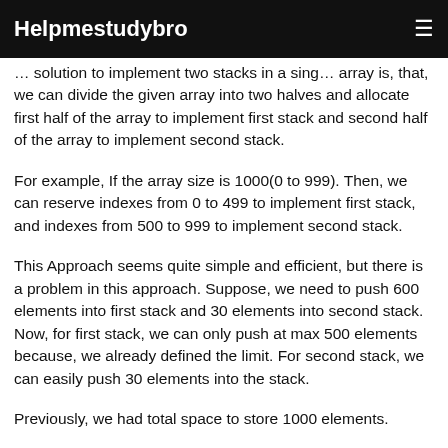Helpmestudybro
… solution to implement two stacks in a single array is, that, we can divide the given array into two halves and allocate first half of the array to implement first stack and second half of the array to implement second stack.
For example, If the array size is 1000(0 to 999). Then, we can reserve indexes from 0 to 499 to implement first stack, and indexes from 500 to 999 to implement second stack.
This Approach seems quite simple and efficient, but there is a problem in this approach. Suppose, we need to push 600 elements into first stack and 30 elements into second stack. Now, for first stack, we can only push at max 500 elements because, we already defined the limit. For second stack, we can easily push 30 elements into the stack.
Previously, we had total space to store 1000 elements.
Total Elements inserted into first stack is 500 and total elements inserted into second stack is 30. So, 1000 –